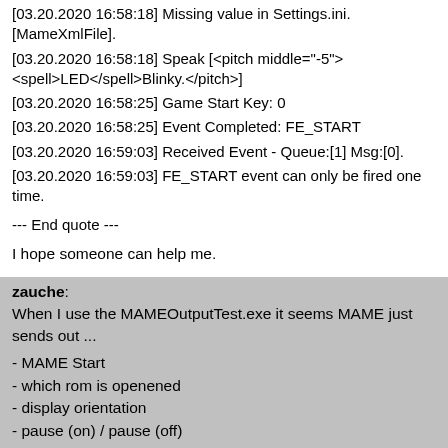[03.20.2020 16:58:18] Missing value in Settings.ini.[MameXmlFile].
[03.20.2020 16:58:18] Speak [<pitch middle="-5"><spell>LED</spell>Blinky.</pitch>]
[03.20.2020 16:58:25] Game Start Key: 0
[03.20.2020 16:58:25] Event Completed: FE_START
[03.20.2020 16:59:03] Received Event - Queue:[1] Msg:[0].
[03.20.2020 16:59:03] FE_START event can only be fired one time.
--- End quote ---
I hope someone can help me.
Thanks in advance,
zauche
zauche: When I use the MAMEOutputTest.exe it seems MAME just sends out ...
- MAME Start
- which rom is openened
- display orientation
- pause (on) / pause (off)